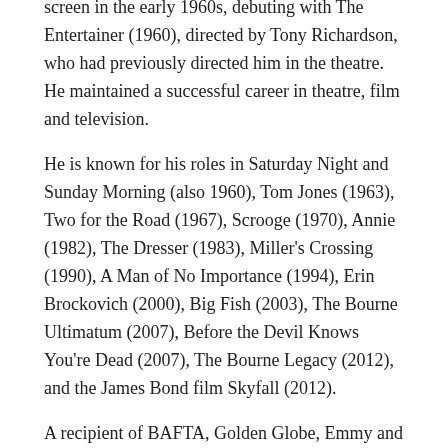screen in the early 1960s, debuting with The Entertainer (1960), directed by Tony Richardson, who had previously directed him in the theatre. He maintained a successful career in theatre, film and television.
He is known for his roles in Saturday Night and Sunday Morning (also 1960), Tom Jones (1963), Two for the Road (1967), Scrooge (1970), Annie (1982), The Dresser (1983), Miller's Crossing (1990), A Man of No Importance (1994), Erin Brockovich (2000), Big Fish (2003), The Bourne Ultimatum (2007), Before the Devil Knows You're Dead (2007), The Bourne Legacy (2012), and the James Bond film Skyfall (2012).
A recipient of BAFTA, Golden Globe, Emmy and Screen Actors Guild awards, Finney was nominated for an Academy Award five times, as Best Actor four times, for Tom Jones (1963), Murder on the Orient Express (1974), The Dresser (1983), and Under the Volcano (1984), and as Best Supporting Actor for Erin Brockovich (2000). He received several awards for his performance as Winston Churchill in the 2002 BBC–HBO television biographical film The